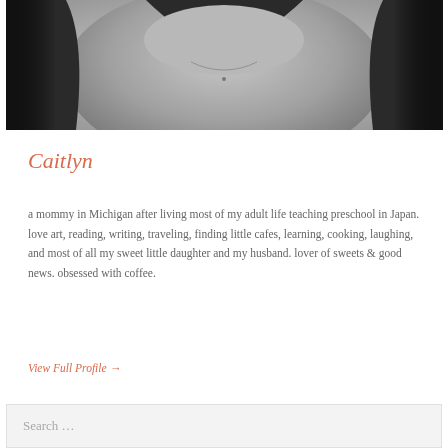[Figure (photo): Black and white close-up photo of a person wearing a dark top, showing neck and upper chest area with a small necklace]
Caitlyn
a mommy in Michigan after living most of my adult life teaching preschool in Japan. love art, reading, writing, traveling, finding little cafes, learning, cooking, laughing, and most of all my sweet little daughter and my husband. lover of sweets & good news. obsessed with coffee.
View Full Profile →